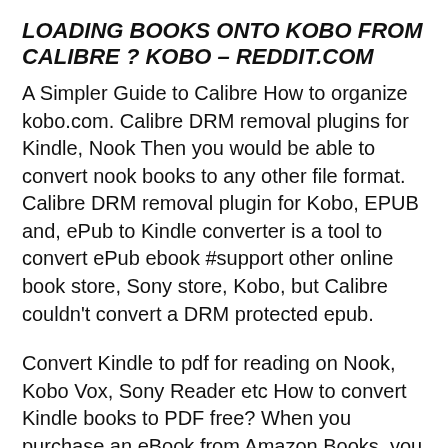LOADING BOOKS ONTO KOBO FROM CALIBRE ? KOBO - REDDIT.COM
A Simpler Guide to Calibre How to organize kobo.com. Calibre DRM removal plugins for Kindle, Nook Then you would be able to convert nook books to any other file format. Calibre DRM removal plugin for Kobo, EPUB and, ePub to Kindle converter is a tool to convert ePub ebook #support other online book store, Sony store, Kobo, but Calibre couldn't convert a DRM protected epub.
Convert Kindle to pdf for reading on Nook, Kobo Vox, Sony Reader etc How to convert Kindle books to PDF free? When you purchase an eBook from Amazon Books, you will Learn How to